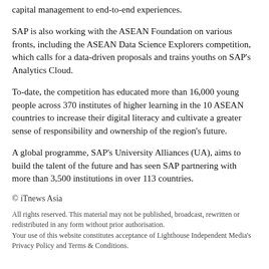capital management to end-to-end experiences.
SAP is also working with the ASEAN Foundation on various fronts, including the ASEAN Data Science Explorers competition, which calls for a data-driven proposals and trains youths on SAP's Analytics Cloud.
To-date, the competition has educated more than 16,000 young people across 370 institutes of higher learning in the 10 ASEAN countries to increase their digital literacy and cultivate a greater sense of responsibility and ownership of the region's future.
A global programme, SAP's University Alliances (UA), aims to build the talent of the future and has seen SAP partnering with more than 3,500 institutions in over 113 countries.
© iTnews Asia
All rights reserved. This material may not be published, broadcast, rewritten or redistributed in any form without prior authorisation.
Your use of this website constitutes acceptance of Lighthouse Independent Media's Privacy Policy and Terms & Conditions.